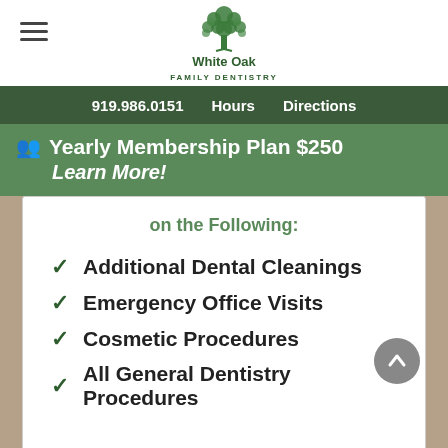[Figure (logo): White Oak Family Dentistry logo with green tree icon and text]
919.986.0151   Hours   Directions
Yearly Membership Plan $250 Learn More!
on the Following:
Additional Dental Cleanings
Emergency Office Visits
Cosmetic Procedures
All General Dentistry Procedures